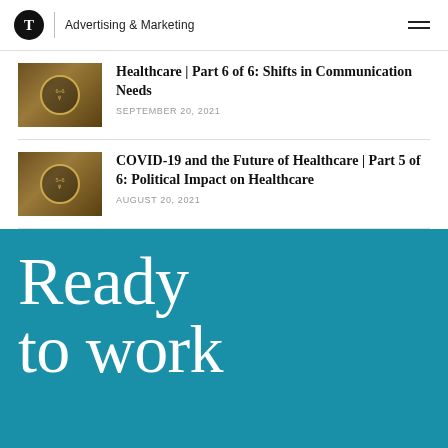T | Advertising & Marketing
Healthcare | Part 6 of 6: Shifts in Communication Needs
SEPTEMBER 20, 2021
COVID-19 and the Future of Healthcare | Part 5 of 6: Political Impact on Healthcare
AUGUST 20, 2021
Ready to work